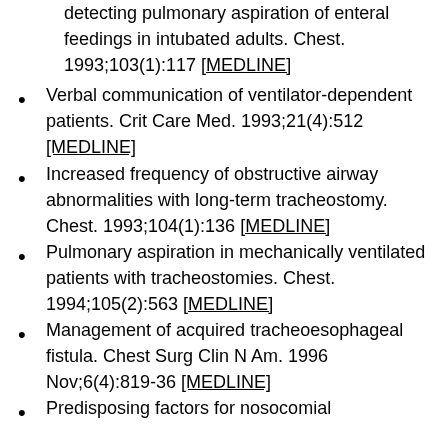detecting pulmonary aspiration of enteral feedings in intubated adults. Chest. 1993;103(1):117 [MEDLINE]
Verbal communication of ventilator-dependent patients. Crit Care Med. 1993;21(4):512 [MEDLINE]
Increased frequency of obstructive airway abnormalities with long-term tracheostomy. Chest. 1993;104(1):136 [MEDLINE]
Pulmonary aspiration in mechanically ventilated patients with tracheostomies. Chest. 1994;105(2):563 [MEDLINE]
Management of acquired tracheoesophageal fistula. Chest Surg Clin N Am. 1996 Nov;6(4):819-36 [MEDLINE]
Predisposing factors for nosocomial